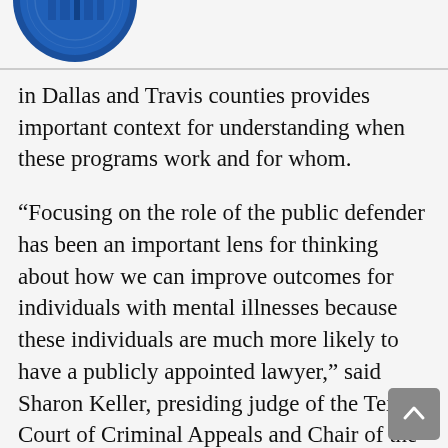[Figure (logo): Partial circular logo/seal in blue, cropped at top-left corner of page]
in Dallas and Travis counties provides important context for understanding when these programs work and for whom.
“Focusing on the role of the public defender has been an important lens for thinking about how we can improve outcomes for individuals with mental illnesses because these individuals are much more likely to have a publicly appointed lawyer,” said Sharon Keller, presiding judge of the Texas Court of Criminal Appeals and Chair of the Indigent Defense Task Force. “By showing that specially trained defense attorneys get better results for clients with mental illnesses, this